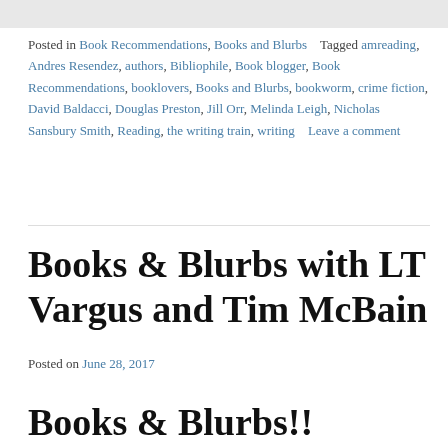Posted in Book Recommendations, Books and Blurbs   Tagged amreading, Andres Resendez, authors, Bibliophile, Book blogger, Book Recommendations, booklovers, Books and Blurbs, bookworm, crime fiction, David Baldacci, Douglas Preston, Jill Orr, Melinda Leigh, Nicholas Sansbury Smith, Reading, the writing train, writing   Leave a comment
Books & Blurbs with LT Vargus and Tim McBain
Posted on June 28, 2017
Books & Blurbs!!